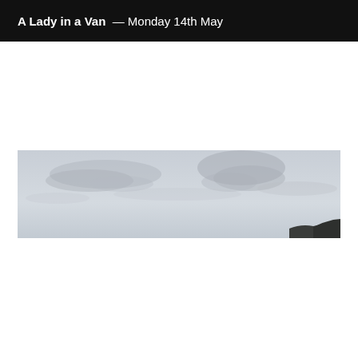A Lady in a Van — Monday 14th May
[Figure (photo): A wide panoramic outdoor photograph showing an overcast grey sky with clouds, and a small dark landmass or hill visible in the lower right corner. The image has a pale blue-grey tone throughout.]